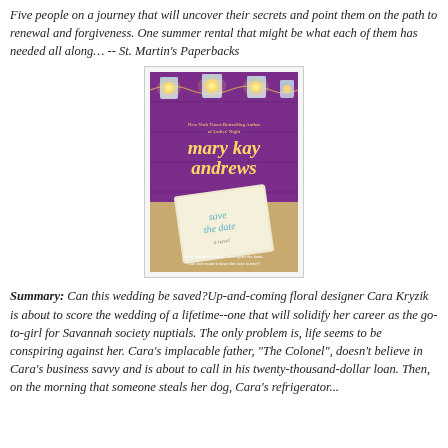Five people on a journey that will uncover their secrets and point them on the path to renewal and forgiveness. One summer rental that might be what each of them has needed all along… -- St. Martin's Paperbacks
[Figure (photo): Book cover of 'Save the Date' by Mary Kay Andrews, New York Times Bestselling Author of Ladies' Night. Purple background with string lights and mason jar lanterns, with a save-the-date card in the foreground.]
Summary: Can this wedding be saved?Up-and-coming floral designer Cara Kryzik is about to score the wedding of a lifetime--one that will solidify her career as the go-to-girl for Savannah society nuptials. The only problem is, life seems to be conspiring against her. Cara's implacable father, "The Colonel", doesn't believe in Cara's business savvy and is about to call in his twenty-thousand-dollar loan. Then, on the morning that someone steals her dog, Cara's refrigerator...